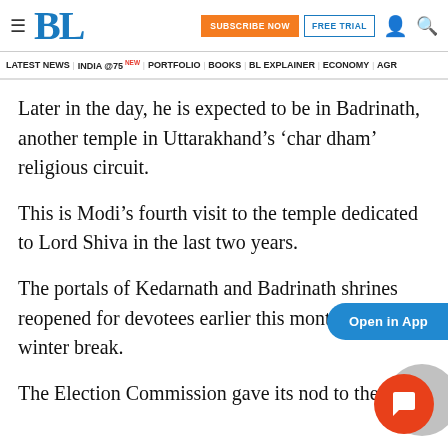BL | SUBSCRIBE NOW | FREE TRIAL
LATEST NEWS | INDIA @75 NEW | PORTFOLIO | BOOKS | BL EXPLAINER | ECONOMY | AGR
Later in the day, he is expected to be in Badrinath, another temple in Uttarakhand’s ‘char dham’ religious circuit.
This is Modi’s fourth visit to the temple dedicated to Lord Shiva in the last two years.
The portals of Kedarnath and Badrinath shrines reopened for devotees earlier this month after the winter break.
The Election Commission gave its nod to the